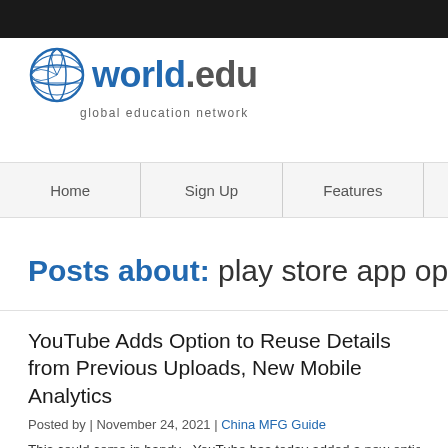world.edu global education network
Home | Sign Up | Features
Posts about: play store app optimi
YouTube Adds Option to Reuse Details from Previous Uploads, New Mobile Analytics
Posted by | November 24, 2021 | China MFG Guide
This could come in handy - YouTube has today added a new option in YouT